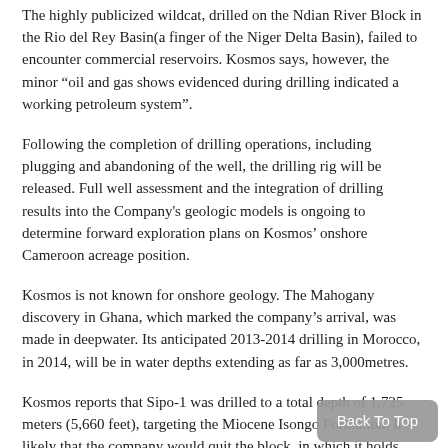The highly publicized wildcat, drilled on the Ndian River Block in the Rio del Rey Basin(a finger of the Niger Delta Basin), failed to encounter commercial reservoirs. Kosmos says, however, the minor “oil and gas shows evidenced during drilling indicated a working petroleum system”.
Following the completion of drilling operations, including plugging and abandoning of the well, the drilling rig will be released. Full well assessment and the integration of drilling results into the Company's geologic models is ongoing to determine forward exploration plans on Kosmos’ onshore Cameroon acreage position.
Kosmos is not known for onshore geology. The Mahogany discovery in Ghana, which marked the company’s arrival, was made in deepwater. Its anticipated 2013-2014 drilling in Morocco, in 2014, will be in water depths extending as far as 3,000metres.
Kosmos reports that Sipo-1 was drilled to a total depth of 1,725 meters (5,660 feet), targeting the Miocene Isongo Formation. It’s likely that the company would quit the block, in which it holds 100% interest. “Kosmos has now completed its drilling programme commitment on the Ndian River Block”, the company announced.